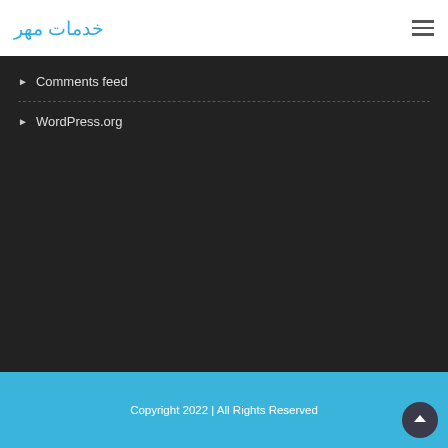خدمات مهر
Comments feed
WordPress.org
Copyright 2022 | All Rights Reserved